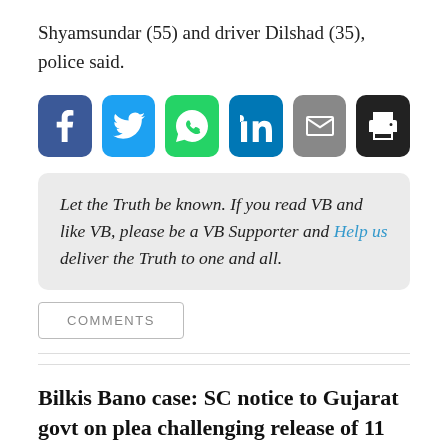Shyamsundar (55) and driver Dilshad (35), police said.
[Figure (other): Row of six social media share buttons: Facebook (dark blue), Twitter (light blue), WhatsApp (green), LinkedIn (blue), Email (grey), Print (black)]
Let the Truth be known. If you read VB and like VB, please be a VB Supporter and Help us deliver the Truth to one and all.
COMMENTS
Bilkis Bano case: SC notice to Gujarat govt on plea challenging release of 11 convicts